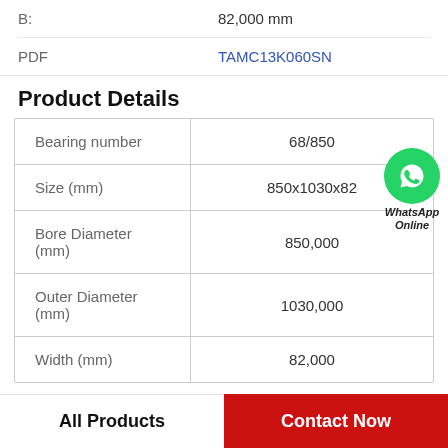| B: | 82,000 mm |
| PDF | TAMC13K060SN |
Product Details
|  |  |
| --- | --- |
| Bearing number | 68/850 |
| Size (mm) | 850x1030x82 |
| Bore Diameter (mm) | 850,000 |
| Outer Diameter (mm) | 1030,000 |
| Width (mm) | 82,000 |
[Figure (logo): WhatsApp Online badge with green circle phone icon and text 'WhatsApp Online']
All Products    Contact Now